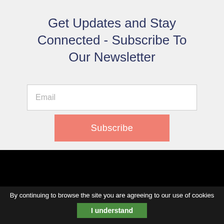Get Updates and Stay Connected - Subscribe To Our Newsletter
Email
Subscribe
By continuing to browse the site you are agreeing to our use of cookies
I understand